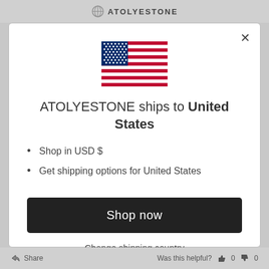ATOLYESTONE
[Figure (illustration): American flag (USA) icon — red and white stripes with blue canton containing white stars]
ATOLYESTONE ships to United States
Shop in USD $
Get shipping options for United States
Shop now
Change shipping country
Share    Was this helpful?  0  0